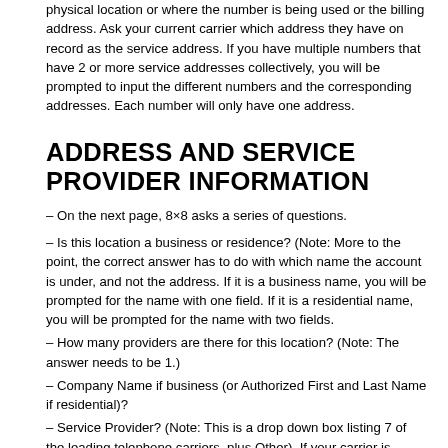physical location or where the number is being used or the billing address. Ask your current carrier which address they have on record as the service address. If you have multiple numbers that have 2 or more service addresses collectively, you will be prompted to input the different numbers and the corresponding addresses. Each number will only have one address.
ADDRESS AND SERVICE PROVIDER INFORMATION
– On the next page, 8×8 asks a series of questions.
– Is this location a business or residence? (Note: More to the point, the correct answer has to do with which name the account is under, and not the address. If it is a business name, you will be prompted for the name with one field. If it is a residential name, you will be prompted for the name with two fields.
– How many providers are there for this location? (Note: The answer needs to be 1.)
– Company Name if business (or Authorized First and Last Name if residential)?
– Service Provider? (Note: This is a drop down box listing 7 of the leading telephone carriers, plus Other). If your carrier is